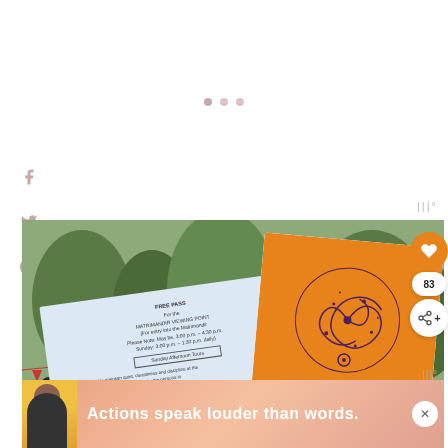[Figure (screenshot): Web page screenshot showing social media share icons (Facebook, Twitter, Pinterest) on the left side, pagination dots at top center, and a Wordmark logo at top right, all on white background above a photo]
[Figure (photo): Photo of two documents outdoors: a blue free pass document for Matrimandir Viewing Point (Sunday Afternoon Tours) in Auroville with Tamil text, and an orange Auroville branded booklet/card with Auroville emblem and cursive 'Auroville' text. Overlaid UI elements include a heart button (orange circle), count badge showing 83, share button, and a 'WHAT'S NEXT' panel showing 'The Ultimate Pondicherry...']
[Figure (screenshot): Advertisement banner at bottom with yellow/orange gradient background, silhouette of person, text 'Actions speak louder than words.' in white bold text, and a close (X) button. Wordmark logo visible at right.]